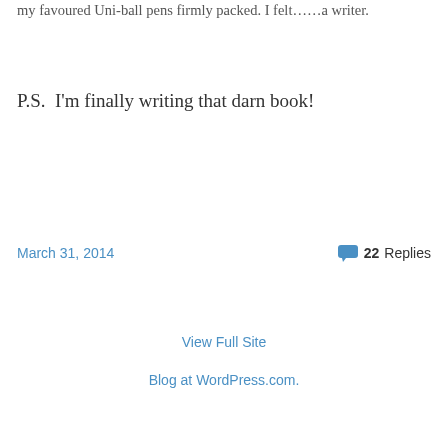my favoured Uni-ball pens firmly packed. I felt……a writer.
P.S.  I'm finally writing that darn book!
March 31, 2014
22 Replies
View Full Site
Blog at WordPress.com.